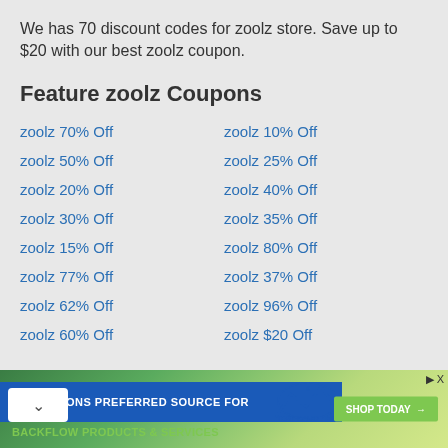We has 70 discount codes for zoolz store. Save up to $20 with our best zoolz coupon.
Feature zoolz Coupons
zoolz 70% Off
zoolz 10% Off
zoolz 50% Off
zoolz 25% Off
zoolz 20% Off
zoolz 40% Off
zoolz 30% Off
zoolz 35% Off
zoolz 15% Off
zoolz 80% Off
zoolz 77% Off
zoolz 37% Off
zoolz 62% Off
zoolz 96% Off
zoolz 60% Off
zoolz $20 Off
Related Stores
Trend Micro Coupon Codes
CheapSSLSecurity Coupon Codes
Coupon Codes
[Figure (infographic): Advertisement banner for Test Gauge Inc., promoting backflow products and services with a Shop Today button]